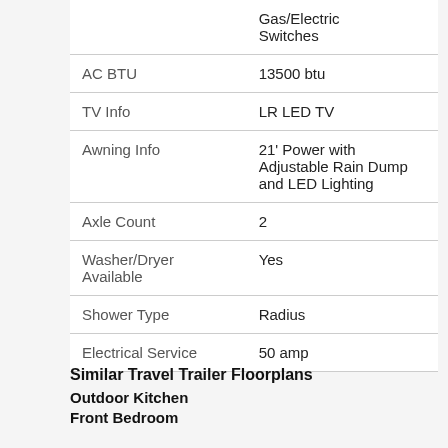| Feature | Value |
| --- | --- |
|  | Gas/Electric Switches |
| AC BTU | 13500 btu |
| TV Info | LR LED TV |
| Awning Info | 21' Power with Adjustable Rain Dump and LED Lighting |
| Axle Count | 2 |
| Washer/Dryer Available | Yes |
| Shower Type | Radius |
| Electrical Service | 50 amp |
Similar Travel Trailer Floorplans
Outdoor Kitchen
Front Bedroom